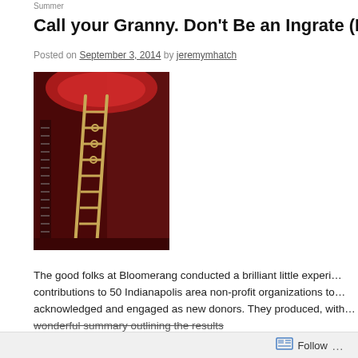Summer
Call your Granny. Don't Be an Ingrate (Fu…
Posted on September 3, 2014 by jeremymhatch
[Figure (photo): A wooden ladder leaning against a deep red wall under a crimson dome-shaped ceiling, in a dimly lit space.]
The good folks at Bloomerang conducted a brilliant little experi… contributions to 50 Indianapolis area non-profit organizations to… acknowledged and engaged as new donors. They produced, with… wonderful summary outlining the results